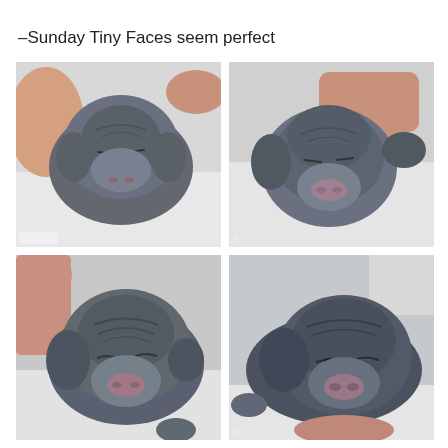–Sunday Tiny Faces seem perfect
[Figure (photo): Close-up of a newborn gray/silver Labrador puppy being held by human hands, eyes closed, sleeping on a white fluffy surface.]
[Figure (photo): Close-up of a newborn gray/silver Labrador puppy being held by human hands, showing both ears, eyes closed, on a white fluffy surface.]
[Figure (photo): Close-up of a newborn gray/silver Labrador puppy being held, slightly larger, eyes squinted, on a white fluffy surface.]
[Figure (photo): Close-up of a newborn gray/silver Labrador puppy lying sideways, eyes barely open, on a white fluffy surface.]
[Figure (photo): Partial view of a newborn gray/silver Labrador puppy, bottom of image cropped.]
[Figure (photo): Partial view of a newborn gray/silver Labrador puppy, bottom of image cropped.]